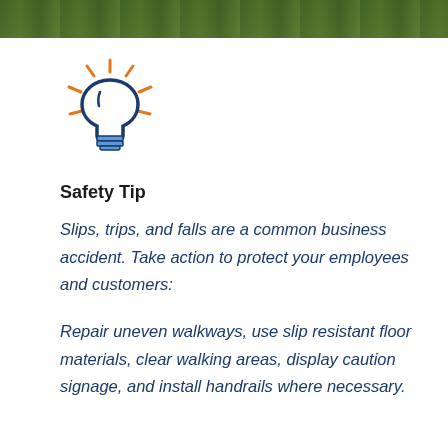[Figure (illustration): Light bulb icon with orange radiating lines suggesting illumination, drawn in dark blue outline style on white background]
Safety Tip
Slips, trips, and falls are a common business accident. Take action to protect your employees and customers:
Repair uneven walkways, use slip resistant floor materials, clear walking areas, display caution signage, and install handrails where necessary.